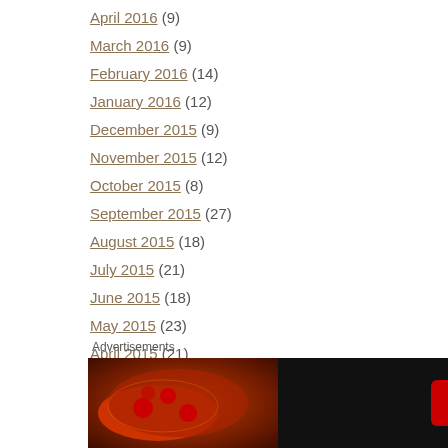April 2016 (9)
March 2016 (9)
February 2016 (14)
January 2016 (12)
December 2015 (9)
November 2015 (12)
October 2015 (8)
September 2015 (27)
August 2015 (18)
July 2015 (21)
June 2015 (18)
May 2015 (23)
April 2015 (21)
Advertisements
[Figure (screenshot): Seamless food delivery advertisement banner with pizza image, Seamless logo in red, and ORDER NOW button]